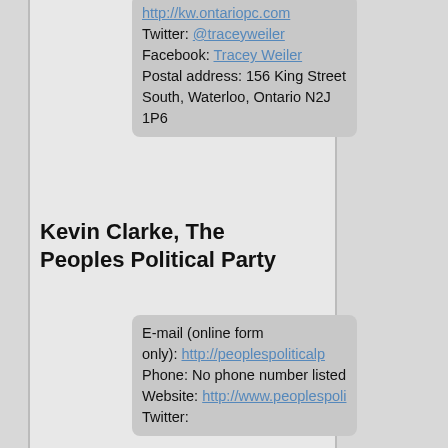http://kw.ontariopc.com Twitter: @traceyweiler Facebook: Tracey Weiler Postal address: 156 King Street South, Waterloo, Ontario N2J 1P6
Kevin Clarke, The Peoples Political Party
E-mail (online form only): http://peoplespoliticalp Phone: No phone number listed Website: http://www.peoplespoli Twitter: